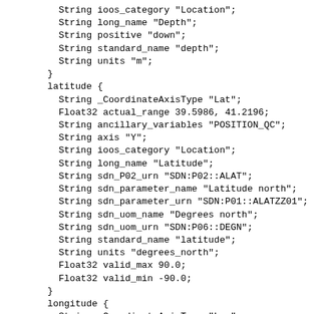String ioos_category "Location";
    String long_name "Depth";
    String positive "down";
    String standard_name "depth";
    String units "m";
  }
  latitude {
    String _CoordinateAxisType "Lat";
    Float32 actual_range 39.5986, 41.2196;
    String ancillary_variables "POSITION_QC";
    String axis "Y";
    String ioos_category "Location";
    String long_name "Latitude";
    String sdn_P02_urn "SDN:P02::ALAT";
    String sdn_parameter_name "Latitude north";
    String sdn_parameter_urn "SDN:P01::ALATZZ01";
    String sdn_uom_name "Degrees north";
    String sdn_uom_urn "SDN:P06::DEGN";
    String standard_name "latitude";
    String units "degrees_north";
    Float32 valid_max 90.0;
    Float32 valid_min -90.0;
  }
  longitude {
    String _CoordinateAxisType "Lon";
    Float32 actual_range 0.06353014, 2.07809;